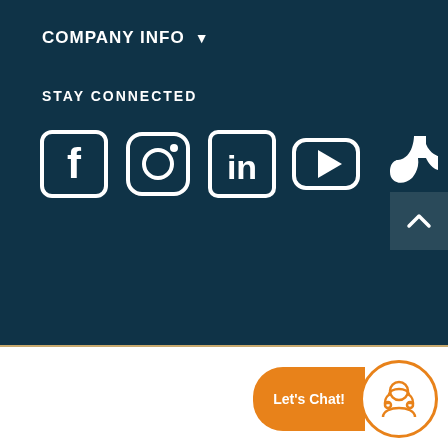COMPANY INFO
STAY CONNECTED
[Figure (illustration): Social media icons row: Facebook, Instagram, LinkedIn, YouTube, TikTok — white icons on dark teal background]
[Figure (illustration): Back to top button with caret/chevron up icon, dark background]
© 2022 Florida Career College, All rights reserved. Privacy Policy and Terms of Service, Disclosure Information, Site Map
Miami is the Main Campus and Boynton Beach, Hialeah, Houston, North Houston, Southwest, Jacksonville
[Figure (illustration): Live chat button: orange pill button with 'Let's Chat!' text and circular customer service agent icon]